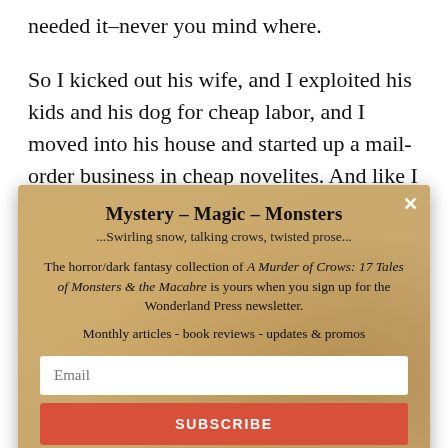needed it–never you mind where.
So I kicked out his wife, and I exploited his kids and his dog for cheap labor, and I moved into his house and started up a mail-order business in cheap novelites. And like I said, you ain't gotta pay for nothin'. Especially if
[Figure (screenshot): Newsletter signup popup with parchment/aged paper background. Title: Mystery - Magic - Monsters. Subtitle: ...Swirling snow, talking crows, twisted prose... Body text about A Murder of Crows: 17 Tales of Monsters & the Macabre collection for Wonderland Press newsletter. Email input and Subscribe button.]
Mystery – Magic – Monsters
...Swirling snow, talking crows, twisted prose...
The horror/dark fantasy collection of A Murder of Crows: 17 Tales of Monsters & the Macabre is yours when you sign up for the Wonderland Press newsletter.
Monthly articles - book reviews - updates & promos